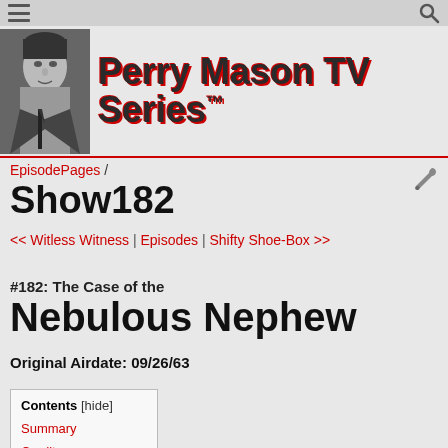Perry Mason TV Series™
Show182
EpisodePages / Show182
<< Witless Witness | Episodes | Shifty Shoe-Box >>
#182: The Case of the Nebulous Nephew
Original Airdate: 09/26/63
| Contents |
| --- |
| Summary |
| Credits |
| Opening |